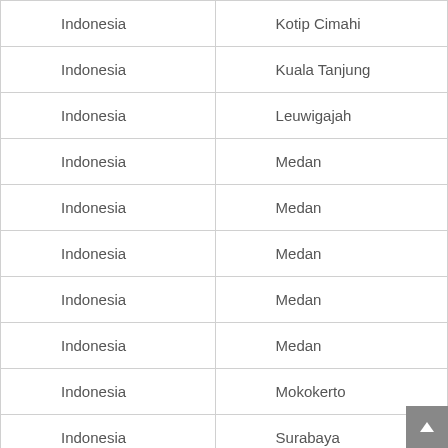| Indonesia | Kotip Cimahi |
| Indonesia | Kuala Tanjung |
| Indonesia | Leuwigajah |
| Indonesia | Medan |
| Indonesia | Medan |
| Indonesia | Medan |
| Indonesia | Medan |
| Indonesia | Medan |
| Indonesia | Mokokerto |
| Indonesia | Surabaya |
| Indonesia | Surabaya |